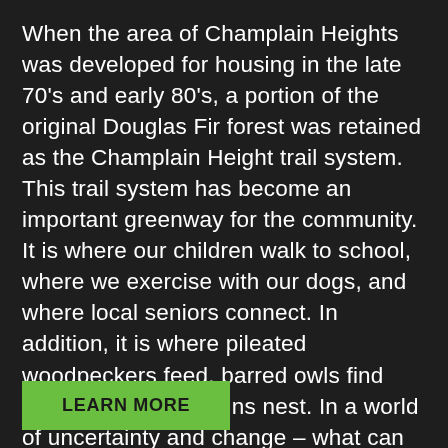When the area of Champlain Heights was developed for housing in the late 70's and early 80's, a portion of the original Douglas Fir forest was retained as the Champlain Height trail system. This trail system has become an important greenway for the community. It is where our children walk to school, where we exercise with our dogs, and where local seniors connect. In addition, it is where pileated woodpeckers feed, barred owls find their mates, and robins nest. In a world of uncertainty and change – what can we do to foster community? What will we leave for the future of ourselves and the planet?
LEARN MORE